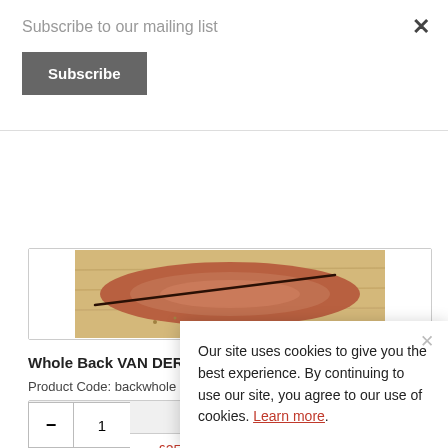Subscribe to our mailing list
×
Subscribe
[Figure (photo): Partial view of a raw meat cut on a wooden cutting board, showing a dark line across the surface]
Whole Back VAN DER MAY
Product Code: backwhole
| Prices from |
| --- |
| £25.01 excl VAT / Each |
− 1
Our site uses cookies to give you the best experience. By continuing to use our site, you agree to our use of cookies. Learn more.